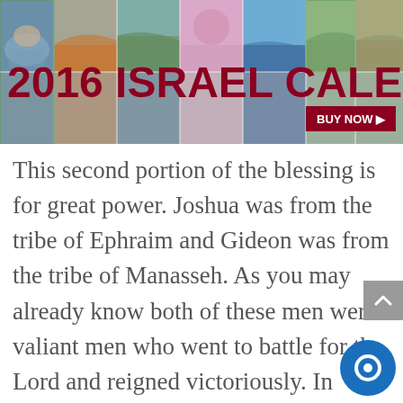[Figure (photo): Banner image showing '2016 ISRAEL CALENDAR' title in dark red over a collage of landscape photos of Israel with a 'BUY NOW ▶' button in the bottom right.]
This second portion of the blessing is for great power. Joshua was from the tribe of Ephraim and Gideon was from the tribe of Manasseh. As you may already know both of these men were valiant men who went to battle for the Lord and reigned victoriously. In many different scriptures in the bible, Joshua 17:17-18; 1 Chronicles 5:18-20; Judges 6; and Psalm 80 to name a few, we read about the great power of the tribe of Joseph, Ephraim and Manasseh. In 1